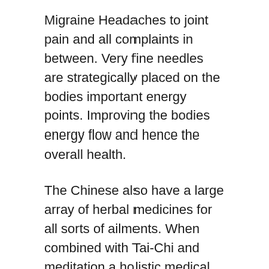Migraine Headaches to joint pain and all complaints in between. Very fine needles are strategically placed on the bodies important energy points. Improving the bodies energy flow and hence the overall health.
The Chinese also have a large array of herbal medicines for all sorts of ailments. When combined with Tai-Chi and meditation a holistic medical treatment is created. By enabling the mind and body to be joined, the energy is directed in the best manner to promote good health.
Therapeutic Touch is another form of alternative medicine that is gaining popularity. In therapeutic Touch the hands are laid on the area of concern It is thought that by placing hands on the effected area energies can be channeled to assist the healing